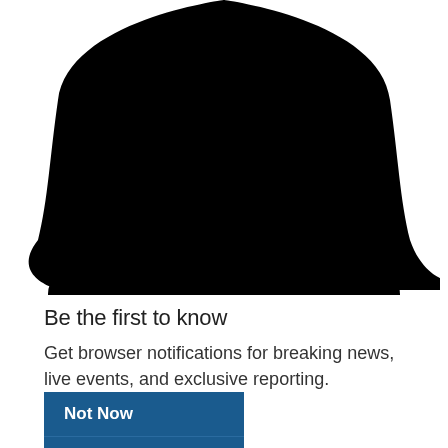[Figure (illustration): Large black bell icon (notification bell) shown from below, with bell body and clapper visible]
Be the first to know
Get browser notifications for breaking news, live events, and exclusive reporting.
Not Now
Turn On